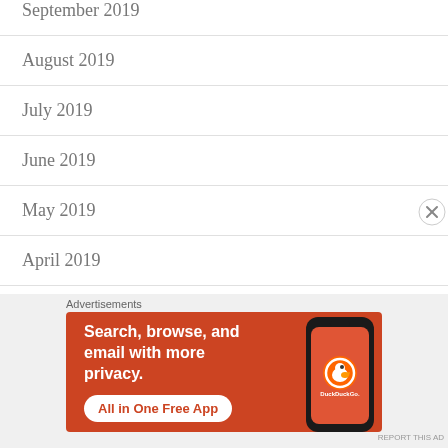September 2019
August 2019
July 2019
June 2019
May 2019
April 2019
March 2019
February 2019
Advertisements
[Figure (infographic): DuckDuckGo advertisement banner with orange background. Text reads: Search, browse, and email with more privacy. All in One Free App. Shows a smartphone with DuckDuckGo logo.]